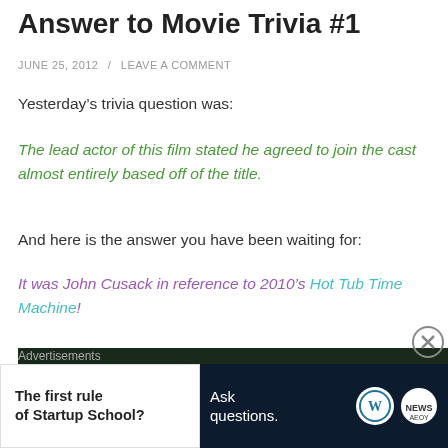Answer to Movie Trivia #1
JUNE 25, 2012 / LEAVE A COMMENT
Yesterday's trivia question was:
The lead actor of this film stated he agreed to join the cast almost entirely based off of the title.
And here is the answer you have been waiting for:
It was John Cusack in reference to 2010's Hot Tub Time Machine!
[Figure (photo): Dark image strip showing trees/forest scene at bottom of article]
Advertisements
[Figure (infographic): Advertisement: left panel white - 'The first rule of Startup School?'; right panel dark navy - 'Ask questions.' with WordPress and another logo]